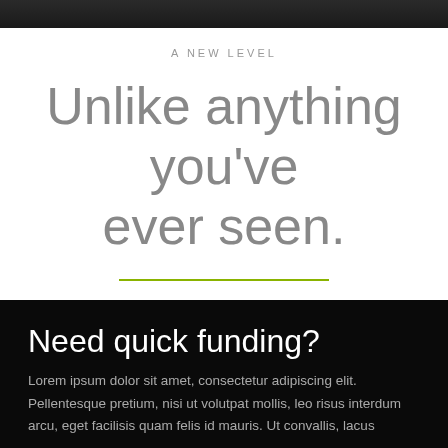[Figure (photo): Dark image strip at the top of the page]
A NEW LEVEL
Unlike anything you've ever seen.
Need quick funding?
Lorem ipsum dolor sit amet, consectetur adipiscing elit. Pellentesque pretium, nisi ut volutpat mollis, leo risus interdum arcu, eget facilisis quam felis id mauris. Ut convallis, lacus